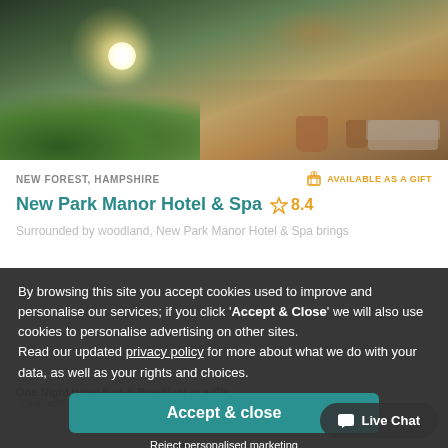[Figure (photo): Hotel outdoor terrace/garden photo at dusk with globe light, wooden deck, potted plants and lounge seating]
NEW FOREST, HAMPSHIRE
AVAILABLE AS A GIFT
New Park Manor Hotel & Spa  ☆ 8.4
Surrounded by woodland, New Park Manor Hotel & Spa brings...
By browsing this site you accept cookies used to improve and personalise our services; if you click 'Accept & Close' we will also use cookies to personalise advertising on other sites. Read our updated privacy policy for more about what we do with your data, as well as your rights and choices.
Accept & close
Reject personalised marketing
One Night Hotel Bed & Breakfast in a Classic Room
- One night's bed and breakfast in a Classic...
Live Chat